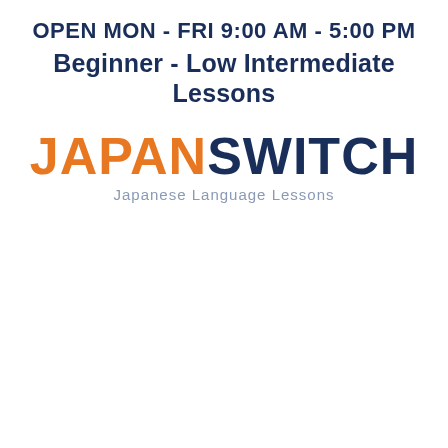OPEN MON - FRI 9:00 AM - 5:00 PM
Beginner - Low Intermediate Lessons
[Figure (logo): JapanSwitch logo with orange JAPAN and dark navy SWITCH text, subtitle: Japanese Language Lessons]